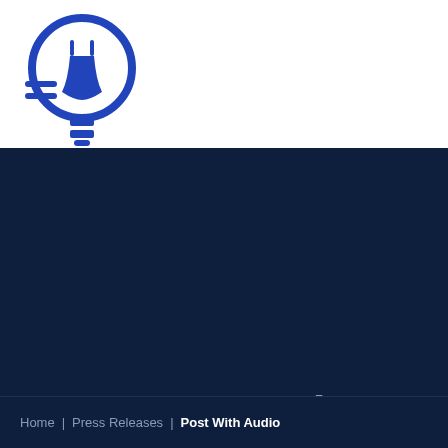[Figure (logo): Blue light bulb icon with horizontal lines on the left side, serving as the site logo for Strayhorn Law]
Post With Audio
SEPTEMBER 9, 2019 | BY STRAYHORNLAW | PRESS RELEASES
Home | Press Releases | Post With Audio